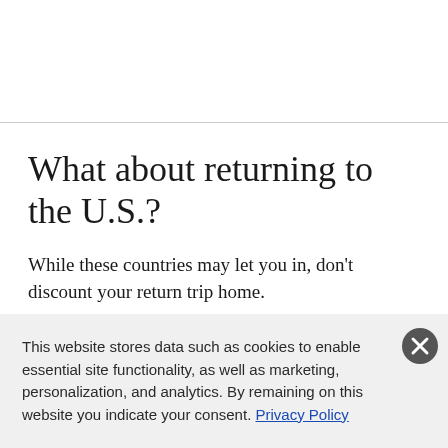What about returning to the U.S.?
While these countries may let you in, don’t discount your return trip home.
This website stores data such as cookies to enable essential site functionality, as well as marketing, personalization, and analytics. By remaining on this website you indicate your consent. Privacy Policy